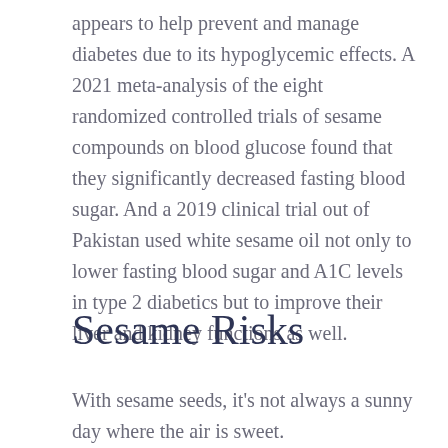appears to help prevent and manage diabetes due to its hypoglycemic effects. A 2021 meta-analysis of the eight randomized controlled trials of sesame compounds on blood glucose found that they significantly decreased fasting blood sugar. And a 2019 clinical trial out of Pakistan used white sesame oil not only to lower fasting blood sugar and A1C levels in type 2 diabetics but to improve their liver and kidney functions as well.
Sesame Risks
With sesame seeds, it's not always a sunny day where the air is sweet.